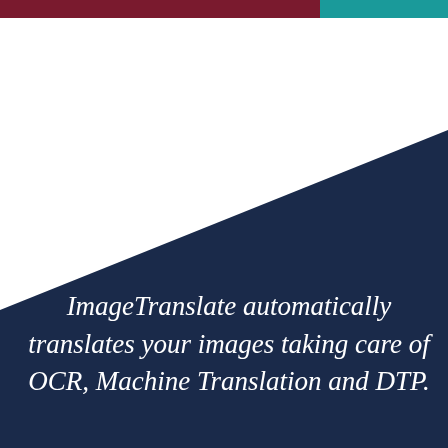[Figure (illustration): Dark navy blue triangular shape filling the lower-right portion of the page, with a white upper-left area. A thin decorative bar with maroon/teal gradient sits at the very top. The navy blue area contains italic white text describing ImageTranslate.]
ImageTranslate automatically translates your images taking care of OCR, Machine Translation and DTP.